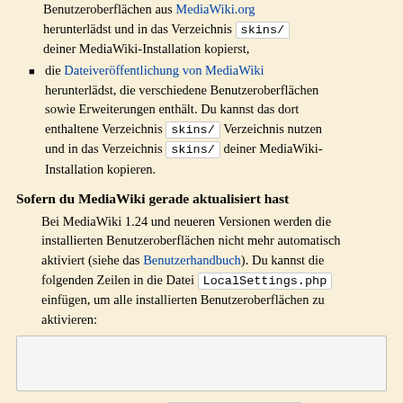Benutzeroberflächen aus MediaWiki.org herunterlädst und in das Verzeichnis skins/ deiner MediaWiki-Installation kopierst,
die Dateiveröffentlichung von MediaWiki herunterlädst, die verschiedene Benutzeroberflächen sowie Erweiterungen enthält. Du kannst das dort enthaltene Verzeichnis skins/ Verzeichnis nutzen und in das Verzeichnis skins/ deiner MediaWiki-Installation kopieren.
Sofern du MediaWiki gerade aktualisiert hast
Bei MediaWiki 1.24 und neueren Versionen werden die installierten Benutzeroberflächen nicht mehr automatisch aktiviert (siehe das Benutzerhandbuch). Du kannst die folgenden Zeilen in die Datei LocalSettings.php einfügen, um alle installierten Benutzeroberflächen zu aktivieren:
[Figure (screenshot): Empty code box for LocalSettings.php content]
Falls du gerade die Datei LocalSettings.php geändert hast
Überprüfe die Namen der Benutzeroberflächen auf Tippfehler.